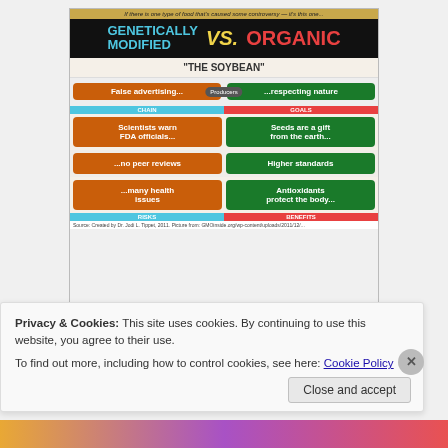[Figure (infographic): Infographic comparing Genetically Modified vs Organic food, using 'The Soybean' as example. Left side (orange boxes): False advertising..., Scientists warn FDA officials..., ...no peer reviews, ...many health issues. Right side (green boxes): ...respecting nature, Seeds are a gift from the earth..., Higher standards, Antioxidants protect the body...]
2) Make sure you use emotive language. Your food
Privacy & Cookies: This site uses cookies. By continuing to use this website, you agree to their use.
To find out more, including how to control cookies, see here: Cookie Policy
Close and accept